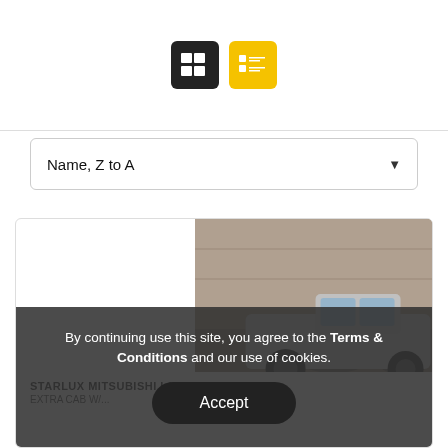[Figure (screenshot): Two toggle buttons: a dark grid-view button and a yellow list-view button]
Name, Z to A
[Figure (photo): Photo of a silver pickup truck (Mitsubishi) in a wet parking area with concrete walls]
STARLUX MITSUBISHI L200 2010
EXTRA CAB W/...
By continuing use this site, you agree to the Terms & Conditions and our use of cookies.
Accept